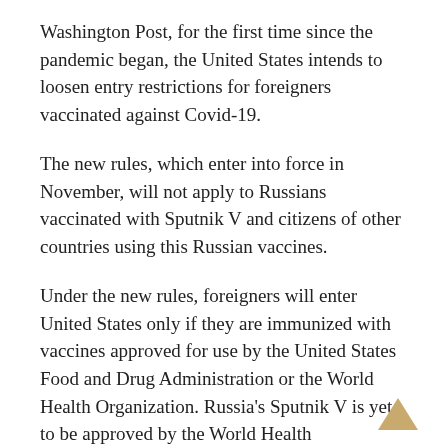Washington Post, for the first time since the pandemic began, the United States intends to loosen entry restrictions for foreigners vaccinated against Covid-19.
The new rules, which enter into force in November, will not apply to Russians vaccinated with Sputnik V and citizens of other countries using this Russian vaccines.
Under the new rules, foreigners will enter United States only if they are immunized with vaccines approved for use by the United States Food and Drug Administration or the World Health Organization. Russia's Sputnik V is yet to be approved by the World Health Organization and is not recognized by the United States.